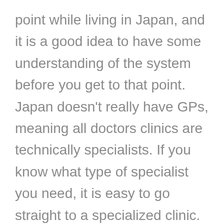point while living in Japan, and it is a good idea to have some understanding of the system before you get to that point. Japan doesn’t really have GPs, meaning all doctors clinics are technically specialists. If you know what type of specialist you need, it is easy to go straight to a specialized clinic.
If you need further treatment, this clinic can then refer you to a hospital with a higher level of care. However, if you